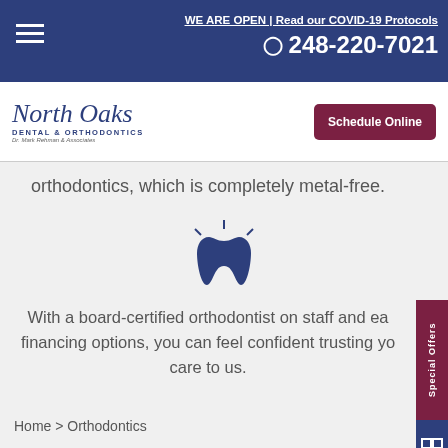WE ARE OPEN | Read our COVID-19 Protocols  248-220-7021
[Figure (logo): North Oaks Dental & Orthodontics logo with script text]
orthodontics, which is completely metal-free.
[Figure (illustration): Blue tooth icon with sparkle lines]
With a board-certified orthodontist on staff and easy financing options, you can feel confident trusting your care to us.
Home > Orthodontics
Create Your Dream